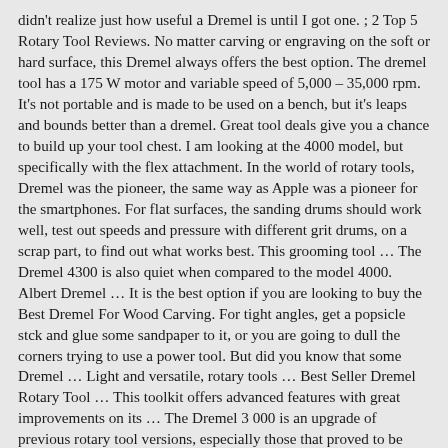didn't realize just how useful a Dremel is until I got one. ; 2 Top 5 Rotary Tool Reviews. No matter carving or engraving on the soft or hard surface, this Dremel always offers the best option. The dremel tool has a 175 W motor and variable speed of 5,000 – 35,000 rpm. It's not portable and is made to be used on a bench, but it's leaps and bounds better than a dremel. Great tool deals give you a chance to build up your tool chest. I am looking at the 4000 model, but specifically with the flex attachment. In the world of rotary tools, Dremel was the pioneer, the same way as Apple was a pioneer for the smartphones. For flat surfaces, the sanding drums should work well, test out speeds and pressure with different grit drums, on a scrap part, to find out what works best. This grooming tool … The Dremel 4300 is also quiet when compared to the model 4000. Albert Dremel … It is the best option if you are looking to buy the Best Dremel For Wood Carving. For tight angles, get a popsicle stck and glue some sandpaper to it, or you are going to dull the corners trying to use a power tool. But did you know that some Dremel … Light and versatile, rotary tools … Best Seller Dremel Rotary Tool … This toolkit offers advanced features with great improvements on its … The Dremel 3 000 is an upgrade of previous rotary tool versions, especially those that proved to be popular with users. I am also open to other brands of rotary tools. In this guide, I plan to